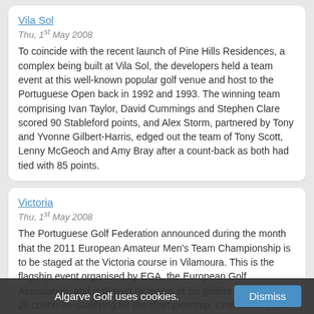Vila Sol
Thu, 1st May 2008
To coincide with the recent launch of Pine Hills Residences, a complex being built at Vila Sol, the developers held a team event at this well-known popular golf venue and host to the Portuguese Open back in 1992 and 1993. The winning team comprising Ivan Taylor, David Cummings and Stephen Clare scored 90 Stableford points, and Alex Storm, partnered by Tony and Yvonne Gilbert-Harris, edged out the team of Tony Scott, Lenny McGeoch and Amy Bray after a count-back as both had tied with 85 points.
Victoria
Thu, 1st May 2008
The Portuguese Golf Federation announced during the month that the 2011 European Amateur Men's Team Championship is to be staged at the Victoria course in Vilamoura. This is the flagship event organised by EGA, the European Golf Association, and is played by teams of six golfers, with the top 20 countries qualifying for the championship. Until recently, the event was played every second year, but as from 2008, wh... nd the
Algarve Golf uses cookies. Dismiss